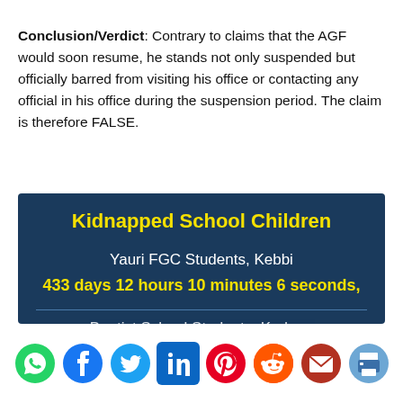Conclusion/Verdict: Contrary to claims that the AGF would soon resume, he stands not only suspended but officially barred from visiting his office or contacting any official in his office during the suspension period. The claim is therefore FALSE.
[Figure (infographic): Dark blue card showing countdown tracker for Kidnapped School Children — Yauri FGC Students, Kebbi: 433 days 12 hours 10 minutes 6 seconds, with partial text Baptist School Students, Kaduna below a divider line.]
[Figure (infographic): Social media sharing icons bar: WhatsApp (green), Facebook (blue), Twitter (light blue), LinkedIn (blue), Pinterest (red), Reddit (orange), Email (dark red), Print (blue/grey)]